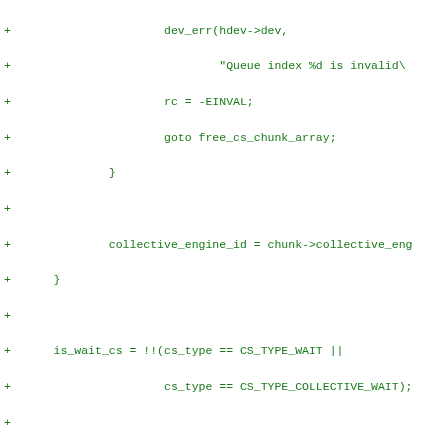[Figure (screenshot): A code diff snippet in green text on white background showing C source code lines with '+' markers indicating added lines. The code involves queue index validation, collective engine id assignment, cs_type checks, cs_encaps_signals, signal sequence extraction, and IDR signal handle iteration.]